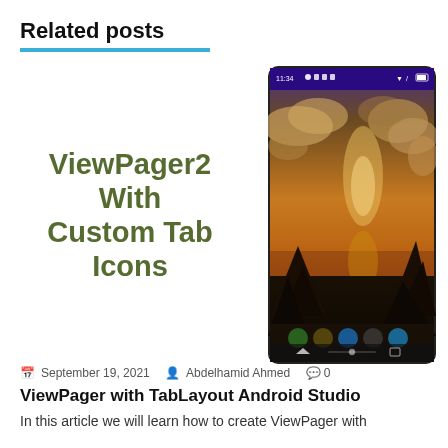Related posts
ViewPager2 With Custom Tab Icons
[Figure (screenshot): Android phone screenshot showing ViewPager2 with Custom Tab Icons app, displaying a sunset sky with dramatic clouds and silhouetted trees, with colored tab icons at the bottom navigation bar.]
📅 September 19, 2021  👤 Abdelhamid Ahmed  💬 0
ViewPager with TabLayout Android Studio
In this article we will learn how to create ViewPager with